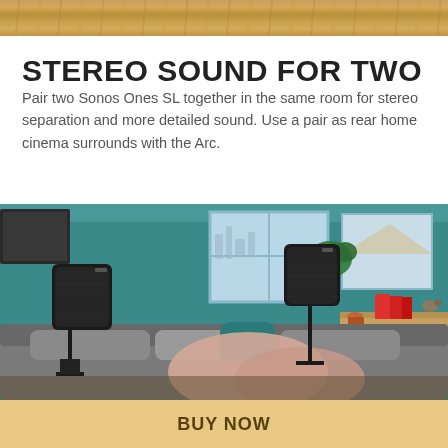[Figure (photo): Wood-grain decorative header banner at the top of the page]
STEREO SOUND FOR TWO
Pair two Sonos Ones SL together in the same room for stereo separation and more detailed sound. Use a pair as rear home cinema surrounds with the Arc.
[Figure (photo): Living room scene with two black Sonos One SL speakers on floor stands, a grey sofa with cushions, teal-painted walls, plants, windows with city view, and shelving with decorative items]
BUY NOW